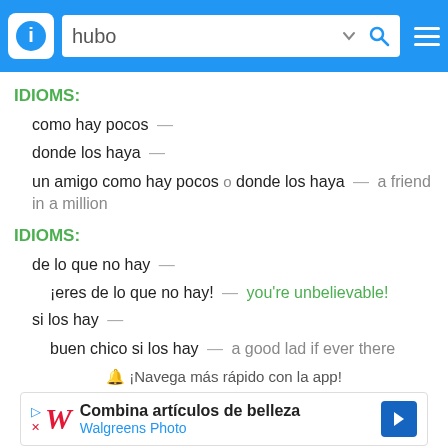[Figure (screenshot): App header bar with info icon, search box showing 'hubo', dropdown arrow, search icon, and hamburger menu on blue background]
IDIOMS:
como hay pocos —
donde los haya —
un amigo como hay pocos o donde los haya — a friend in a million
IDIOMS:
de lo que no hay —
¡eres de lo que no hay! — you're unbelievable!
si los hay —
buen chico si los hay — a good lad if ever there
🔔 ¡Navega más rápido con la app!
[Figure (other): Walgreens Photo advertisement: Combina articulos de belleza]